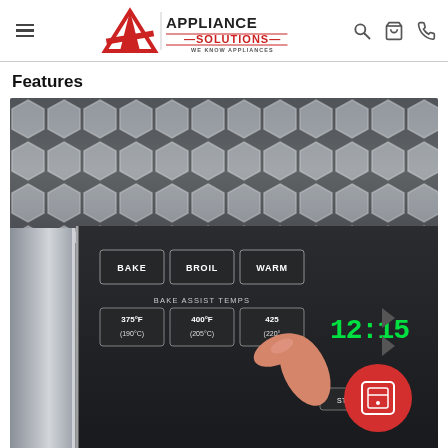Appliance Solutions — We Know Appliances — navigation header
Features
[Figure (photo): Close-up photograph of an oven control panel with buttons labeled BAKE, BROIL, WARM, BAKE ASSIST TEMPS at 375°F (190°C), 400°F (205°C), 425°F (220°C), and a digital time display showing 12:15, with a finger touching the panel. A red circular phone icon button is overlaid in the bottom right corner. The oven is set against a hexagonal tile backsplash.]